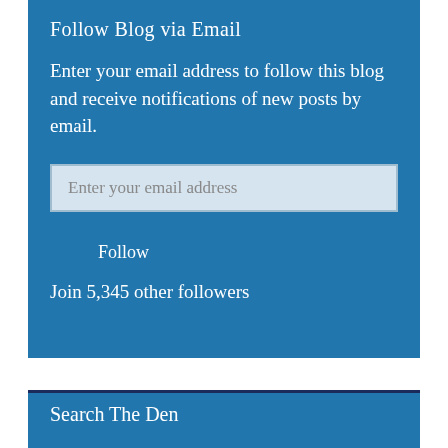Follow Blog via Email
Enter your email address to follow this blog and receive notifications of new posts by email.
Enter your email address
Follow
Join 5,345 other followers
Search The Den